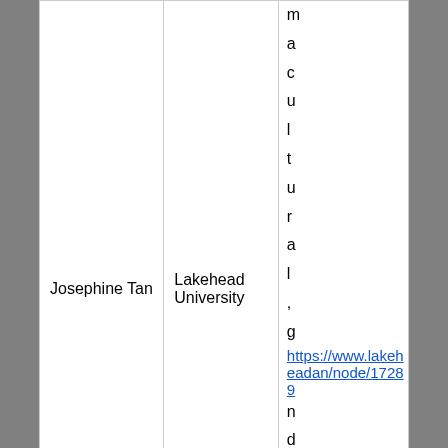| Josephine Tan | Lakehead University | macultural, gender, https://www.lakehead.ca/an/node/17289 nder, a |